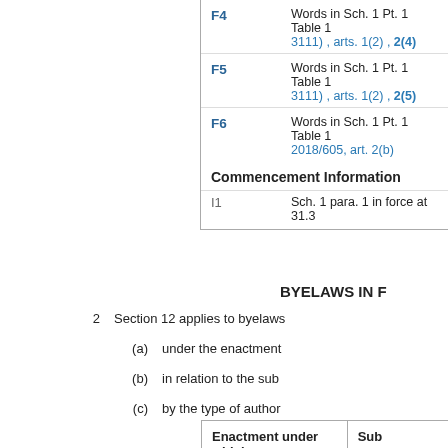| Key | Description |
| --- | --- |
| F4 | Words in Sch. 1 Pt. 1 Table 1... 3111) , arts. 1(2) , 2(4) |
| F5 | Words in Sch. 1 Pt. 1 Table 1... 3111) , arts. 1(2) , 2(5) |
| F6 | Words in Sch. 1 Pt. 1 Table 1... 2018/605, art. 2(b) |
Commencement Information
| Key | Description |
| --- | --- |
| I1 | Sch. 1 para. 1 in force at 31.3... |
BYELAWS IN F
2    Section 12 applies to byelaws
(a)    under the enactment
(b)    in relation to the sub
(c)    by the type of author
| Enactment under which byelaws are made | Sub |
| --- | --- |